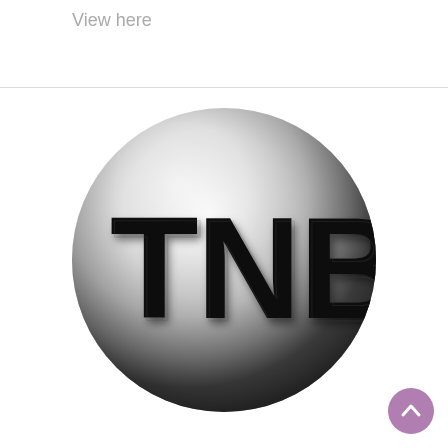View here
[Figure (logo): TNB logo: a large 3D-rendered sphere with a silver/metallic gradient shading from white at top-left to dark grey at bottom-right, with the bold black letters 'TNB' embossed/engraved on the surface in a serif-style heavy font with 3D shadow effect.]
[Figure (other): Purple circular back-to-top button with an upward-pointing chevron arrow icon in white.]